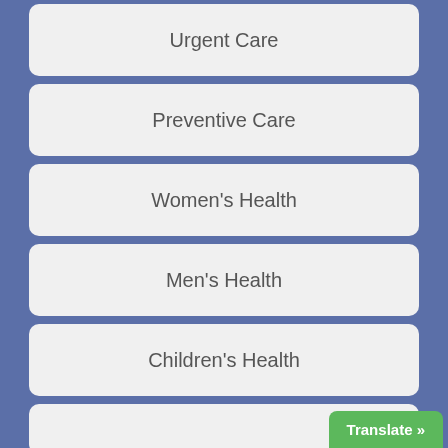Urgent Care
Preventive Care
Women's Health
Men's Health
Children's Health
Translate »